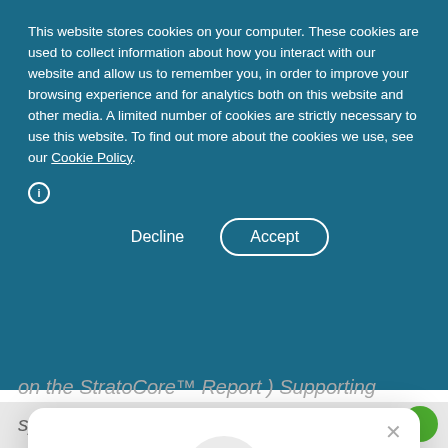This website stores cookies on your computer. These cookies are used to collect information about how you interact with our website and allow us to remember you, in order to improve your browsing experience and for analytics both on this website and other media. A limited number of cookies are strictly necessary to use this website. To find out more about the cookies we use, see our Cookie Policy.
Decline   Accept
[Figure (illustration): A sparkle/stars icon (four-pointed gold sparkle) inside a light grey circle, representing rewards or premium features.]
Unlock exclusive rewards and perks
Sign up or Log in
Sign up
Already have an account? Sign in